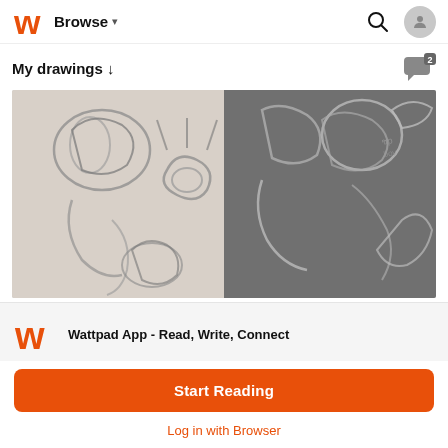Browse
My drawings ↓
[Figure (photo): Pencil sketch drawings of anime/cartoon characters, split into two panels side by side. Left panel shows a lighter sketch, right panel shows a darker version of similar characters.]
[Figure (logo): Wattpad orange W logo]
Wattpad App - Read, Write, Connect
Start Reading
Log in with Browser